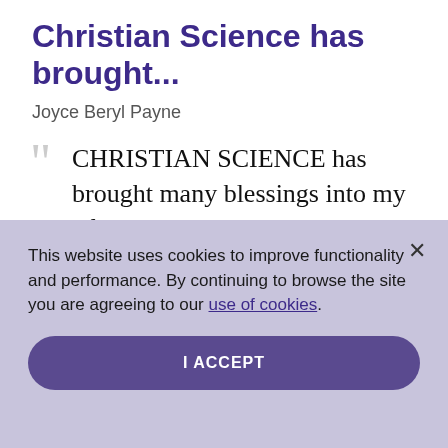Christian Science has brought...
Joyce Beryl Payne
CHRISTIAN SCIENCE has brought many blessings into my life
This website uses cookies to improve functionality and performance. By continuing to browse the site you are agreeing to our use of cookies.